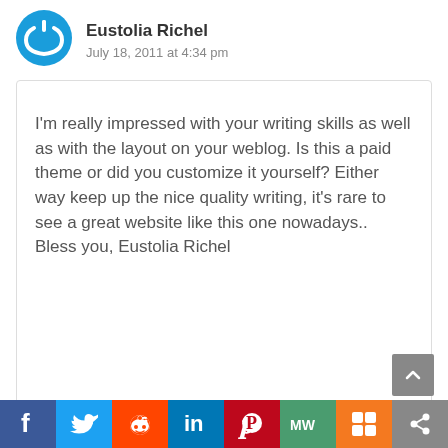Eustolia Richel — July 18, 2011 at 4:34 pm
I'm really impressed with your writing skills as well as with the layout on your weblog. Is this a paid theme or did you customize it yourself? Either way keep up the nice quality writing, it's rare to see a great website like this one nowadays.. Bless you, Eustolia Richel
Social share bar: Facebook, Twitter, Reddit, LinkedIn, Pinterest, MeWe, Mix, Share